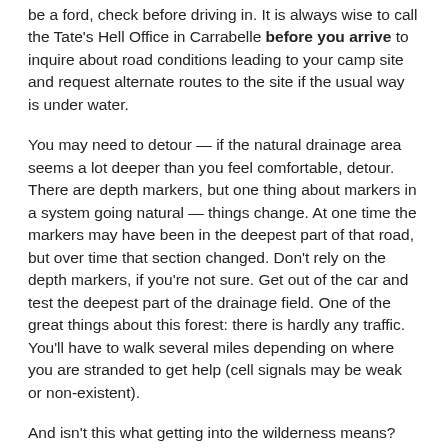be a ford, check before driving in. It is always wise to call the Tate's Hell Office in Carrabelle before you arrive to inquire about road conditions leading to your camp site and request alternate routes to the site if the usual way is under water.
You may need to detour — if the natural drainage area seems a lot deeper than you feel comfortable, detour. There are depth markers, but one thing about markers in a system going natural — things change. At one time the markers may have been in the deepest part of that road, but over time that section changed. Don't rely on the depth markers, if you're not sure. Get out of the car and test the deepest part of the drainage field. One of the great things about this forest: there is hardly any traffic. You'll have to walk several miles depending on where you are stranded to get help (cell signals may be weak or non-existent).
And isn't this what getting into the wilderness means? You are not guaranteed convenience. You're on your own.